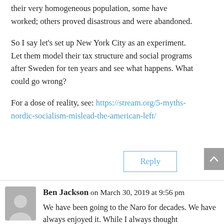their very homogeneous population, some have worked; others proved disastrous and were abandoned.
So I say let's set up New York City as an experiment. Let them model their tax structure and social programs after Sweden for ten years and see what happens. What could go wrong?
For a dose of reality, see: https://stream.org/5-myths-nordic-socialism-mislead-the-american-left/
Reply
Ben Jackson on March 30, 2019 at 9:56 pm
We have been going to the Naro for decades. We have always enjoyed it. While I always thought